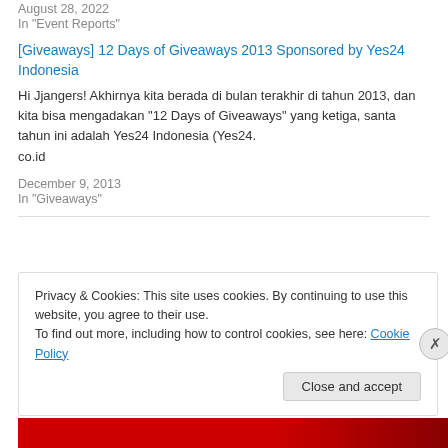August 28, 2022
In "Event Reports"
[Giveaways] 12 Days of Giveaways 2013 Sponsored by Yes24 Indonesia
Hi Jjangers! Akhirnya kita berada di bulan terakhir di tahun 2013, dan kita bisa mengadakan “12 Days of Giveaways” yang ketiga, santa tahun ini adalah Yes24 Indonesia (Yes24.
co.id
December 9, 2013
In "Giveaways"
Privacy & Cookies: This site uses cookies. By continuing to use this website, you agree to their use.
To find out more, including how to control cookies, see here: Cookie Policy
Close and accept